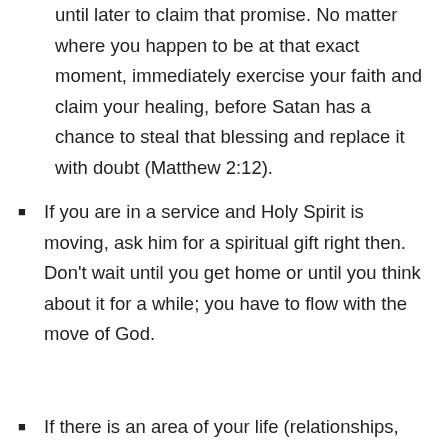until later to claim that promise. No matter where you happen to be at that exact moment, immediately exercise your faith and claim your healing, before Satan has a chance to steal that blessing and replace it with doubt (Matthew 2:12).
If you are in a service and Holy Spirit is moving, ask him for a spiritual gift right then. Don't wait until you get home or until you think about it for a while; you have to flow with the move of God.
If there is an area of your life (relationships,